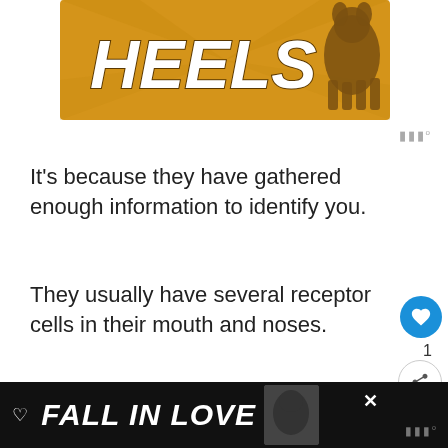[Figure (illustration): Gold/yellow banner with 'HEELS' text in white bold italic letters with a dog silhouette on the right side]
It’s because they have gathered enough information to identify you.
They usually have several receptor cells in their mouth and noses.
The receptors help them gather more information about you using your sweat, which they use to recognize you every time.
[Figure (illustration): Bottom advertisement banner with dark background, heart icon, 'FALL IN LOVE' text in white italic bold, dog image, and close button]